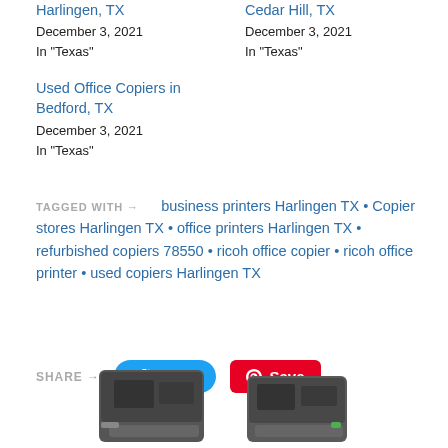Harlingen, TX
December 3, 2021
In "Texas"
Cedar Hill, TX
December 3, 2021
In "Texas"
Used Office Copiers in Bedford, TX
December 3, 2021
In "Texas"
TAGGED WITH → business printers Harlingen TX • Copier stores Harlingen TX • office printers Harlingen TX • refurbished copiers 78550 • ricoh office copier • ricoh office printer • used copiers Harlingen TX
SHARE → Tweet Save
[Figure (photo): Two Ricoh office copier/printer machines shown from the front, dark gray color, displayed at the bottom of the page.]